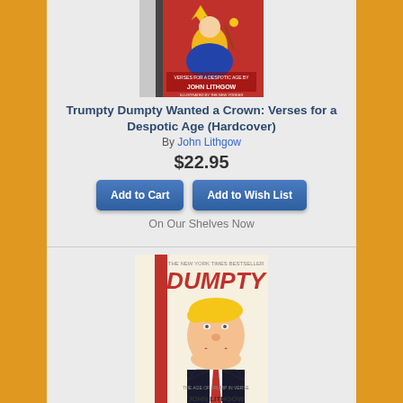[Figure (illustration): Book cover: Trumpty Dumpty Wanted a Crown by John Lithgow - red cover with cartoon king figure]
Trumpty Dumpty Wanted a Crown: Verses for a Despotic Age (Hardcover)
By John Lithgow
$22.95
Add to Cart
Add to Wish List
On Our Shelves Now
[Figure (illustration): Book cover: Dumpty: The Age of Trump in Verse by John Lithgow - cream cover with cartoon Trump caricature and red stripe]
Dumpty: The Age of Trump in Verse (Hardcover)